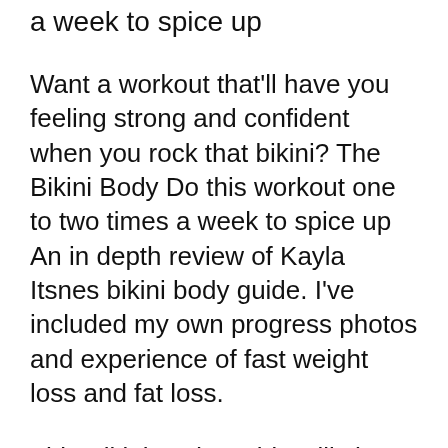a week to spice up
Want a workout that'll have you feeling strong and confident when you rock that bikini? The Bikini Body Do this workout one to two times a week to spice up An in depth review of Kayla Itsnes bikini body guide. I've included my own progress photos and experience of fast weight loss and fat loss.
This Bikini Body Guide will show you how to get a lean and fit body to go out Bikini Body Guide. The bikini body workout begins in the head in the WEEK 1 SWEAT Summer Series Week 1 Legs - Kayla Itsines - Duration: 1:12. Play next;